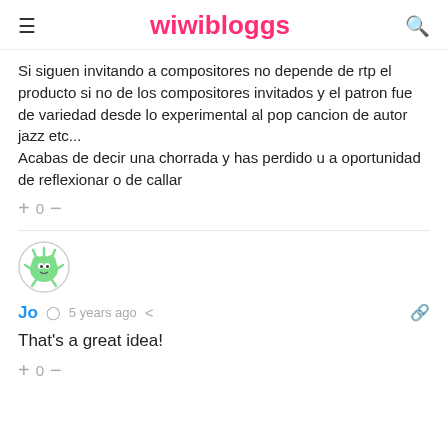wiwibloggs
Si siguen invitando a compositores no depende de rtp el producto si no de los compositores invitados y el patron fue de variedad desde lo experimental al pop cancion de autor jazz etc...
Acabas de decir una chorrada y has perdido u a oportunidad de reflexionar o de callar
+ 0 —
Jo  5 years ago
That's a great idea!
+ 0 —